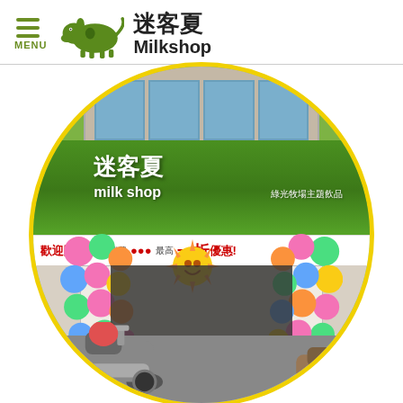MENU | 迷客夏 Milkshop
[Figure (photo): Circular-framed photo of a Milkshop (迷客夏) store front with green grass-wall signage, balloon arch decorations at entrance, promotional banners reading 歡迎開幕 最高一折 優惠!, and scooters parked in front. Yellow circular border frame.]